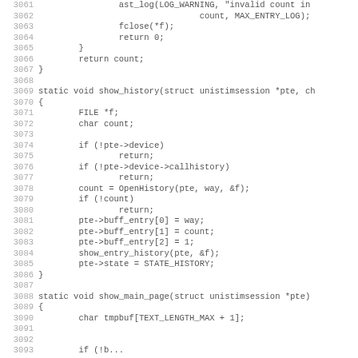Source code listing lines 3061-3092, showing C functions show_history and show_main_page